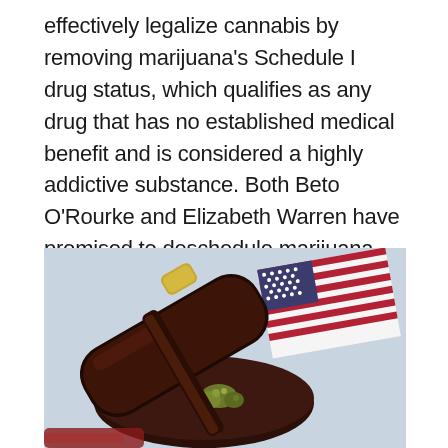effectively legalize cannabis by removing marijuana's Schedule I drug status, which qualifies as any drug that has no established medical benefit and is considered a highly addictive substance. Both Beto O'Rourke and Elizabeth Warren have promised to deschedule marijuana through executive action, but only Sanders promised to do so within the first 100 days of office.
[Figure (photo): A wooden judge's gavel resting on its sound block with cannabis buds nearby, and an American flag in the background — symbolizing legal/judicial themes around marijuana policy.]